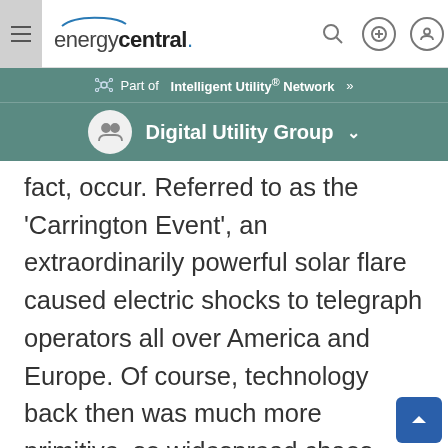energycentral.
Part of Intelligent Utility® Network »
Digital Utility Group
fact, occur. Referred to as the 'Carrington Event', an extraordinarily powerful solar flare caused electric shocks to telegraph operators all over America and Europe. Of course, technology back then was much more primitive, so widespread chaos simply wouldn't be a fair comparison to the complete horror we would face today